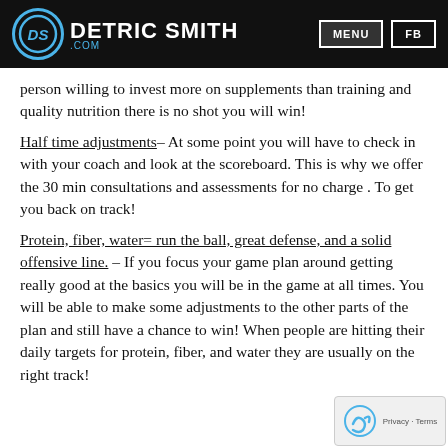DETRIC SMITH .com | MENU | FB
person willing to invest more on supplements than training and quality nutrition there is no shot you will win!
Half time adjustments– At some point you will have to check in with your coach and look at the scoreboard. This is why we offer the 30 min consultations and assessments for no charge . To get you back on track!
Protein, fiber, water= run the ball, great defense, and a solid offensive line. – If you focus your game plan around getting really good at the basics you will be in the game at all times. You will be able to make some adjustments to the other parts of the plan and still have a chance to win! When people are hitting their daily targets for protein, fiber, and water they are usually on the right track!